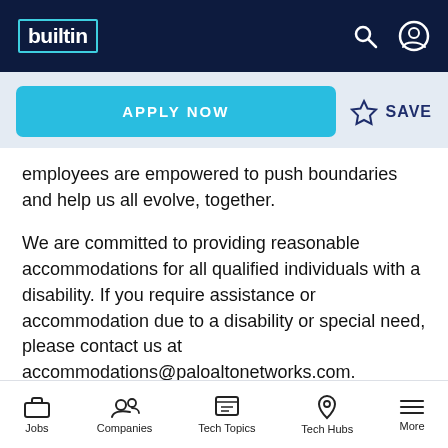builtin
APPLY NOW
employees are empowered to push boundaries and help us all evolve, together.
We are committed to providing reasonable accommodations for all qualified individuals with a disability. If you require assistance or accommodation due to a disability or special need, please contact us at accommodations@paloaltonetworks.com.
Palo Alto Networks is an equal opportunity employer. We celebrate diversity in our
Jobs   Companies   Tech Topics   Tech Hubs   More